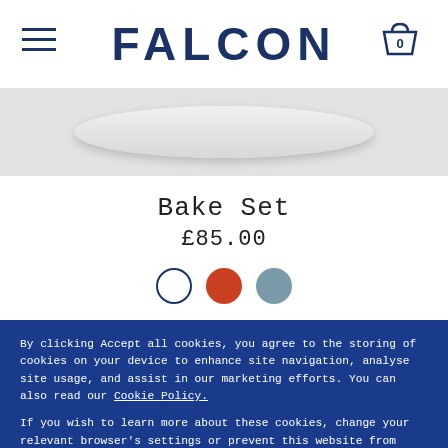FALCON
[Figure (photo): White ceramic plate or baking dish shown from above on a grey background]
Bake Set
£85.00
[Figure (other): Three color swatches: white (selected, with blue border), red/terracotta, and grey-blue]
By clicking Accept all cookies, you agree to the storing of cookies on your device to enhance site navigation, analyse site usage, and assist in our marketing efforts. You can also read our Cookie Policy.

If you wish to learn more about these cookies, change your relevant browser's settings or prevent this website from collecting cookies, click here.

Cookies are used for personalised ads/ content. If you click 'ACCEPT' you signify your consent to the use of these cookies.
ACCEPT